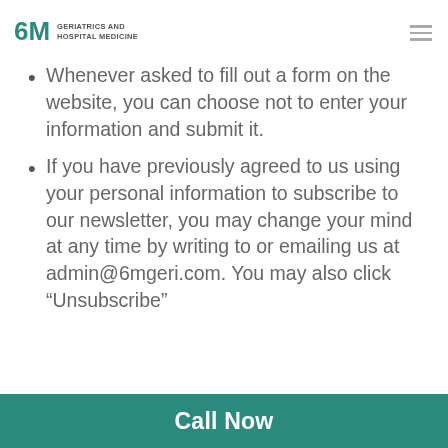6M Geriatrics and Hospital Medicine
Whenever asked to fill out a form on the website, you can choose not to enter your information and submit it.
If you have previously agreed to us using your personal information to subscribe to our newsletter, you may change your mind at any time by writing to or emailing us at admin@6mgeri.com. You may also click “Unsubscribe”
Call Now